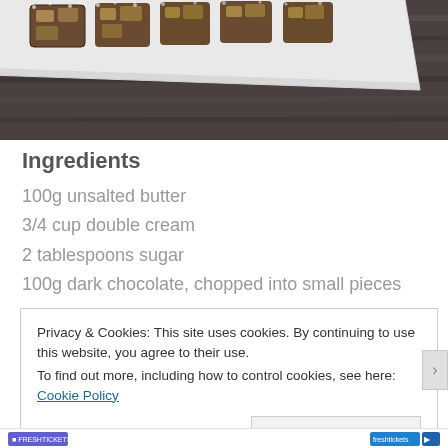[Figure (photo): Photo of chocolate biscuit cake pieces on a white plate, placed on a dark wooden surface/table. The image is cropped showing mostly the lower portion of the plate and the wood grain background.]
Ingredients
100g unsalted butter
3/4 cup double cream
2 tablespoons sugar
100g dark chocolate, chopped into small pieces
Privacy & Cookies: This site uses cookies. By continuing to use this website, you agree to their use.
To find out more, including how to control cookies, see here: Cookie Policy